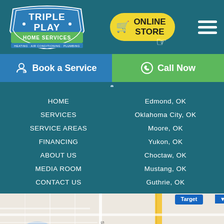[Figure (logo): Triple Play Home Services logo - green and blue badge with baseball design, text: TRIPLE PLAY HOME SERVICES, HEATING, AIR CONDITIONING, PLUMBING]
[Figure (other): Online Store button - yellow rounded button with shopping cart icon and cursor click indicator]
[Figure (other): Hamburger menu icon - three white horizontal bars]
[Figure (other): Book a Service navigation button - blue background with person/list icon]
[Figure (other): Call Now navigation button - green background with phone icon]
HOME
SERVICES
SERVICE AREAS
FINANCING
ABOUT US
MEDIA ROOM
CONTACT US
Edmond, OK
Oklahoma City, OK
Moore, OK
Yukon, OK
Choctaw, OK
Mustang, OK
Guthrie, OK
[Figure (map): Google Maps screenshot showing area around Edmond Memorial, S Kelly Ave, E 9th St, Target, and EC H label visible]